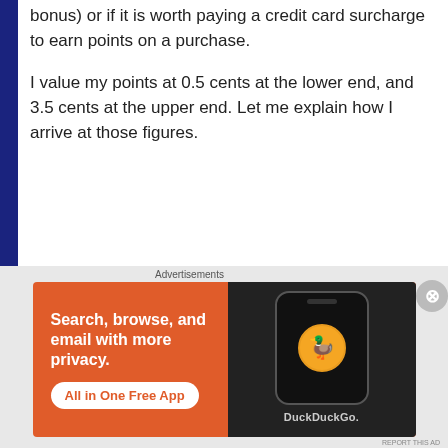bonus) or if it is worth paying a credit card surcharge to earn points on a purchase.
I value my points at 0.5 cents at the lower end, and 3.5 cents at the upper end. Let me explain how I arrive at those figures.
Lets start in the Qantas Store. You could buy the proverbial toaster with your hard-earned points. You'll
[Figure (screenshot): Flash sale product snippet showing a flash sale badge, a product image, and a price with strikethrough (was $4,490)]
Advertisements
[Figure (infographic): DuckDuckGo advertisement banner with orange background. Text reads: Search, browse, and email with more privacy. All in One Free App. Shows a smartphone with DuckDuckGo logo.]